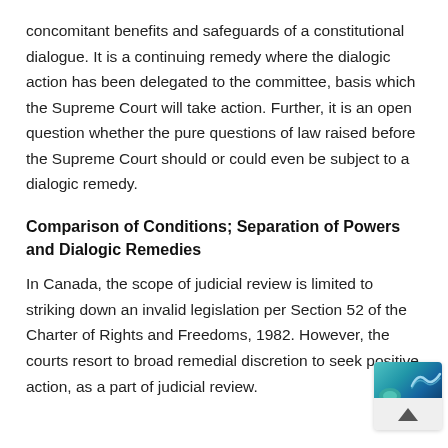concomitant benefits and safeguards of a constitutional dialogue. It is a continuing remedy where the dialogic action has been delegated to the committee, basis which the Supreme Court will take action. Further, it is an open question whether the pure questions of law raised before the Supreme Court should or could even be subject to a dialogic remedy.
Comparison of Conditions; Separation of Powers and Dialogic Remedies
In Canada, the scope of judicial review is limited to striking down an invalid legislation per Section 52 of the Charter of Rights and Freedoms, 1982. However, the courts resort to broad remedial discretion to seek positive action, as a part of judicial review.